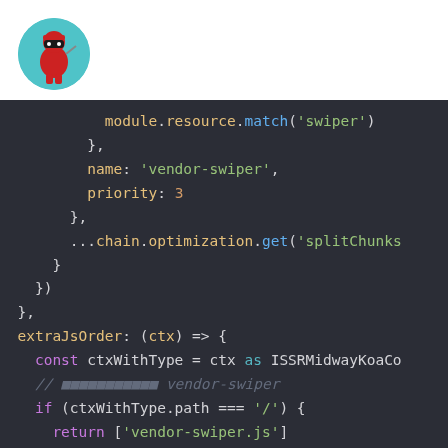[Figure (logo): Red ninja character logo on teal circular background]
module.resource.match('swiper')
        },
        name: 'vendor-swiper',
        priority: 3
      },
      ...chain.optimization.get('splitChunks
    }
  })
},
extraJsOrder: (ctx) => {
  const ctxWithType = ctx as ISSRMidwayKoaCo
  // [squares] vendor-swiper
  if (ctxWithType.path === '/') {
    return ['vendor-swiper.js']